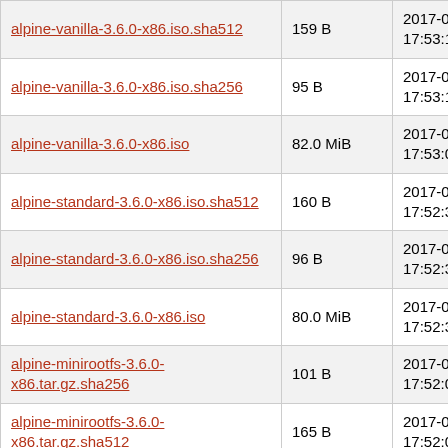| alpine-vanilla-3.6.0-x86.iso.sha512 | 159 B | 2017-05-24 17:53:12 |
| alpine-vanilla-3.6.0-x86.iso.sha256 | 95 B | 2017-05-24 17:53:10 |
| alpine-vanilla-3.6.0-x86.iso | 82.0 MiB | 2017-05-24 17:53:08 |
| alpine-standard-3.6.0-x86.iso.sha512 | 160 B | 2017-05-24 17:52:34 |
| alpine-standard-3.6.0-x86.iso.sha256 | 96 B | 2017-05-24 17:52:32 |
| alpine-standard-3.6.0-x86.iso | 80.0 MiB | 2017-05-24 17:52:30 |
| alpine-minirootfs-3.6.0-x86.tar.gz.sha256 | 101 B | 2017-05-24 17:52:02 |
| alpine-minirootfs-3.6.0-x86.tar.gz.sha512 | 165 B | 2017-05-24 17:52:02 |
| alpine-minirootfs-3.6.0-x86.tar.gz | 1.9 MiB | 2017-05-24 17:52:02 |
| latest-release.yaml | 2.0 KiB | 2016-12-22 11:51:42 |
| alpine-virt-3.5.0-x86.iso.sha512 | 194 B | 2016-12-22 11:50:44 |